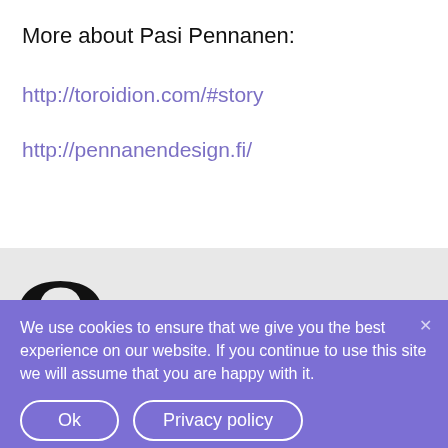More about Pasi Pennanen:
http://toroidion.com/#story
http://pennanendesign.fi/
[Figure (logo): Large black letter O logo with partial text visible, on grey background]
We use cookies to ensure that we give you the best experience on our website. If you continue to use this site we will assume that you are happy with it.
Ok
Privacy policy